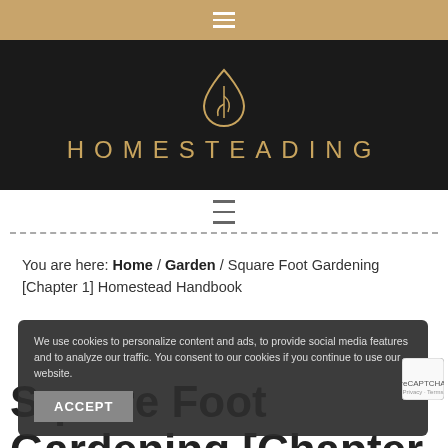≡ (hamburger menu icon)
[Figure (logo): Homesteading website logo: golden leaf/drop icon above the word HOMESTEADING in gold spaced capital letters on a black background]
≡ (hamburger menu icon, second nav bar)
You are here: Home / Garden / Square Foot Gardening [Chapter 1] Homestead Handbook
We use cookies to personalize content and ads, to provide social media features and to analyze our traffic. You consent to our cookies if you continue to use our website.
ACCEPT
Square Foot Gardening [Chapter 1] Homestead Handbook